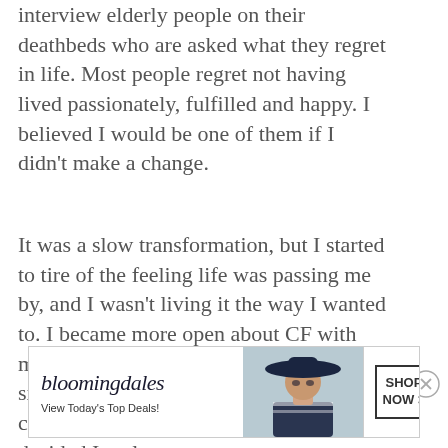interview elderly people on their deathbeds who are asked what they regret in life. Most people regret not having lived passionately, fulfilled and happy. I believed I would be one of them if I didn't make a change.
It was a slow transformation, but I started to tire of the feeling life was passing me by, and I wasn't living it the way I wanted to. I became more open about CF with my peers and found others dealing with similar challenges within the CF community. In college, after I had decided I no longer
[Figure (other): Bloomingdale's advertisement banner. Shows Bloomingdale's logo in italic serif font, tagline 'View Today's Top Deals!', a woman wearing a wide-brim navy hat, and a 'SHOP NOW >' button in a bordered box.]